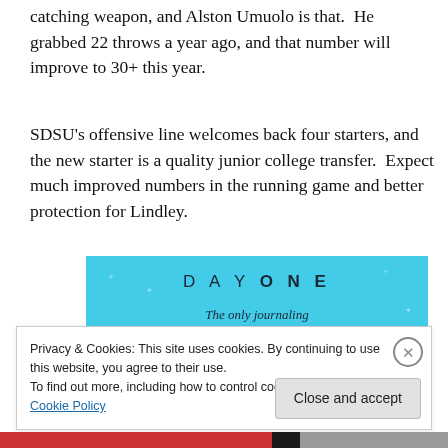catching weapon, and Alston Umuolo is that. He grabbed 22 throws a year ago, and that number will improve to 30+ this year.
SDSU's offensive line welcomes back four starters, and the new starter is a quality junior college transfer. Expect much improved numbers in the running game and better protection for Lindley.
[Figure (other): Advertisement banner with light blue background showing 'DAY ONE' in spaced letters and italic text 'The only journaling app you'll ever need.' with small star/cross decorations.]
Privacy & Cookies: This site uses cookies. By continuing to use this website, you agree to their use.
To find out more, including how to control cookies, see here: Cookie Policy
Close and accept